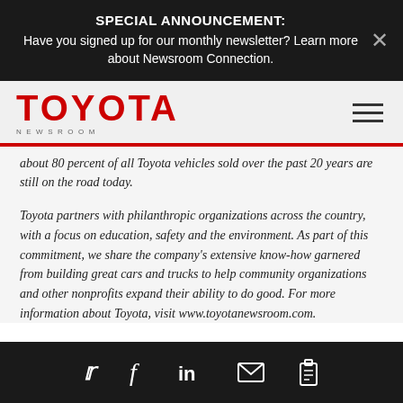SPECIAL ANNOUNCEMENT: Have you signed up for our monthly newsletter? Learn more about Newsroom Connection.
[Figure (logo): Toyota Newsroom logo in red with NEWSROOM text below]
about 80 percent of all Toyota vehicles sold over the past 20 years are still on the road today.
Toyota partners with philanthropic organizations across the country, with a focus on education, safety and the environment. As part of this commitment, we share the company's extensive know-how garnered from building great cars and trucks to help community organizations and other nonprofits expand their ability to do good. For more information about Toyota, visit www.toyotanewsroom.com.
Social share icons: Twitter, Facebook, LinkedIn, Email, Copy link